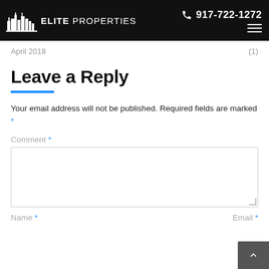Elite Properties | 917-722-1272
April 2018 (1)
Leave a Reply
Your email address will not be published. Required fields are marked *
Comment *
Name * Email *